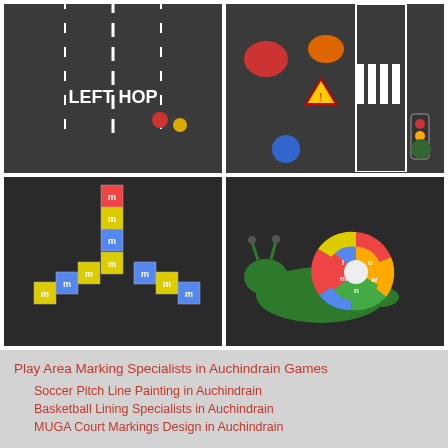[Figure (photo): Four playground asphalt markings photos in a 2x2 grid: top-left shows a road with 'LEFT HOP' text marking; top-right shows a road safety themed playground with traffic signs and zebra crossing; bottom-left shows a Y-shaped hopscotch pattern with coloured squares; bottom-right shows a green snail with a spiral numbered/lettered shell.]
Play Area Marking Specialists in Auchindrain Games
Soccer Pitch Line Painting in Auchindrain
Basketball Lining Specialists in Auchindrain
MUGA Court Markings Design in Auchindrain